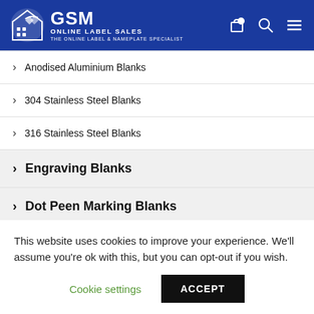[Figure (logo): GSM Online Label Sales logo - white text on blue background with diamond/house icon]
Anodised Aluminium Blanks
304 Stainless Steel Blanks
316 Stainless Steel Blanks
Engraving Blanks
Dot Peen Marking Blanks
Office & Factory Signs
This website uses cookies to improve your experience. We'll assume you're ok with this, but you can opt-out if you wish.
Cookie settings   ACCEPT